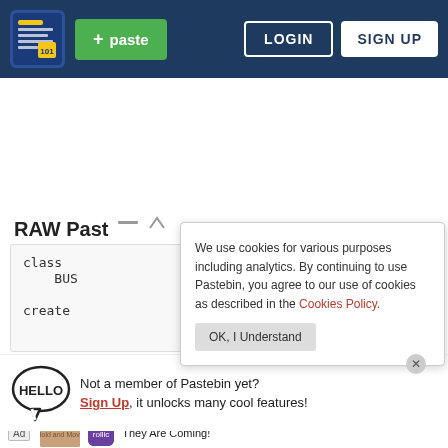[Figure (screenshot): Pastebin website header with logo, green paste button, login and sign up buttons on dark blue background]
RAW Past
class
    BUS

create
We use cookies for various purposes including analytics. By continuing to use Pastebin, you agree to our use of cookies as described in the Cookies Policy.   OK, I Understand
Not a member of Pastebin yet? Sign Up, it unlocks many cool features!
[Figure (screenshot): Advertisement for Rollic game 'They Are Coming!' with Hold and Move image and download button]